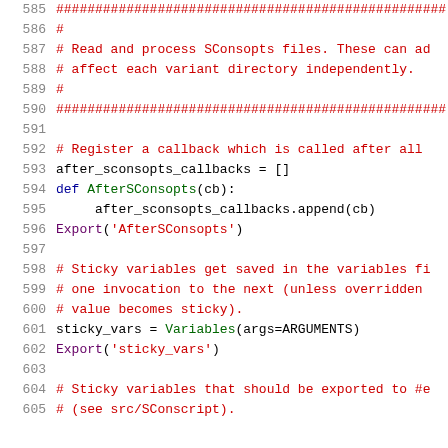585-605: Python source code showing SConsopts processing, AfterSConsopts callback registration, and sticky variables setup